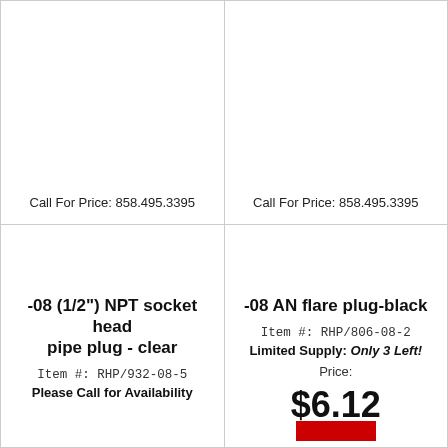Call For Price: 858.495.3395
Call For Price: 858.495.3395
-08 (1/2") NPT socket head pipe plug - clear
Item #: RHP/932-08-5
Please Call for Availability
-08 AN flare plug-black
Item #: RHP/806-08-2
Limited Supply: Only 3 Left!
Price:
$6.12